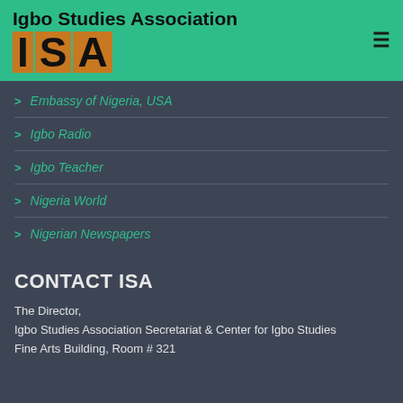Igbo Studies Association
Embassy of Nigeria, USA
Igbo Radio
Igbo Teacher
Nigeria World
Nigerian Newspapers
CONTACT ISA
The Director,
Igbo Studies Association Secretariat & Center for Igbo Studies
Fine Arts Building, Room # 321